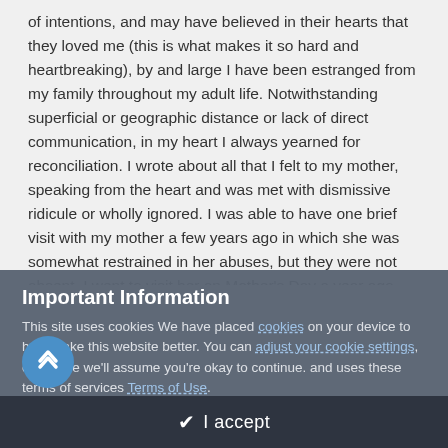of intentions, and may have believed in their hearts that they loved me (this is what makes it so hard and heartbreaking), by and large I have been estranged from my family throughout my adult life. Notwithstanding superficial or geographic distance or lack of direct communication, in my heart I always yearned for reconciliation. I wrote about all that I felt to my mother, speaking from the heart and was met with dismissive ridicule or wholly ignored. I was able to have one brief visit with my mother a few years ago in which she was somewhat restrained in her abuses, but they were not absent. I went to visit her on Mother's Day a year ago and she put on a show of helplessness which was belied by her walking without assistance after having created the impression that this was not possible. Notwithstanding that she had never responded to the hurt I had
Important Information
This site uses cookies We have placed cookies on your device to help make this website better. You can adjust your cookie settings, otherwise we'll assume you're okay to continue. and uses these terms of services Terms of Use.
✔  I accept